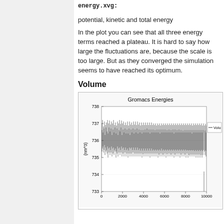energy.xvg:
potential, kinetic and total energy
In the plot you can see that all three energy terms reached a plateau. It is hard to say how large the fluctuations are, because the scale is too large. But as they converged the simulation seems to have reached its optimum.
Volume
[Figure (continuous-plot): A time series plot titled 'Gromacs Energies' showing Volume (nm^3) on the y-axis ranging from 733 to 738, and time on the x-axis from 0 to 10000. The plot shows dense black oscillating data centered around 736 nm^3 with a legend entry for 'Volu' (Volume).]